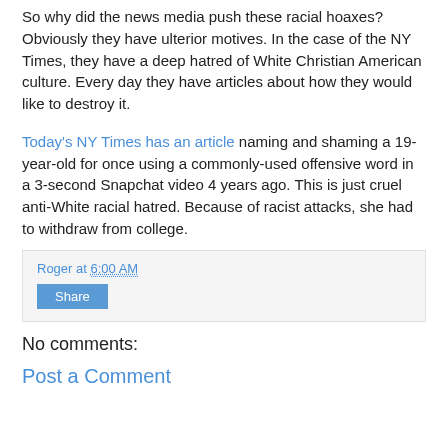So why did the news media push these racial hoaxes? Obviously they have ulterior motives. In the case of the NY Times, they have a deep hatred of White Christian American culture. Every day they have articles about how they would like to destroy it.
Today's NY Times has an article naming and shaming a 19-year-old for once using a commonly-used offensive word in a 3-second Snapchat video 4 years ago. This is just cruel anti-White racial hatred. Because of racist attacks, she had to withdraw from college.
Roger at 6:00 AM
Share
No comments:
Post a Comment